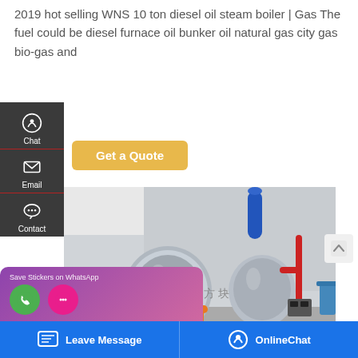2019 hot selling WNS 10 ton diesel oil steam boiler | Gas The fuel could be diesel furnace oil bunker oil natural gas city gas bio-gas and
[Figure (screenshot): Get a Quote button with yellow/gold background]
[Figure (photo): Industrial boiler room showing large cylindrical steam boilers with orange pipes, red tubing, and industrial equipment]
[Figure (screenshot): Save Stickers on WhatsApp overlay with phone and chat icons on purple/pink gradient background]
[Figure (screenshot): Left sidebar with Chat, Email, and Contact icons on dark background]
[Figure (screenshot): Bottom navigation bar with Leave Message and OnlineChat buttons on blue background]